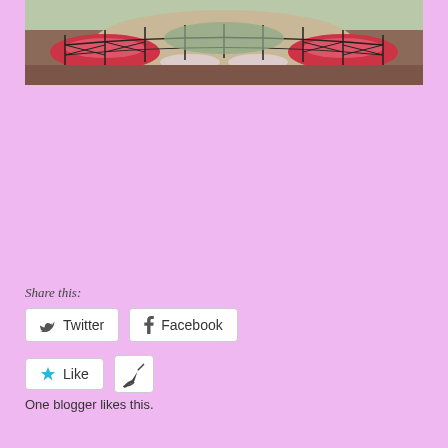[Figure (photo): A garden flower bed shaped in a rounded form with red and pink flowers, surrounded by a black metal fence, with gravel/stone ground visible]
Share this:
Twitter
Facebook
Like
One blogger likes this.